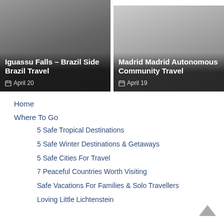[Figure (photo): Card image for Iguassu Falls – Brazil Side Brazil Travel, dated April 20]
[Figure (photo): Card image for Madrid Madrid Autonomous Community Travel, dated April 19]
Home
Where To Go
5 Safe Tropical Destinations
5 Safe Winter Destinations & Getaways
5 Safe Cities For Travel
7 Peaceful Countries Worth Visiting
Safe Vacations For Families & Solo Travellers
Loving Little Lichtenstein